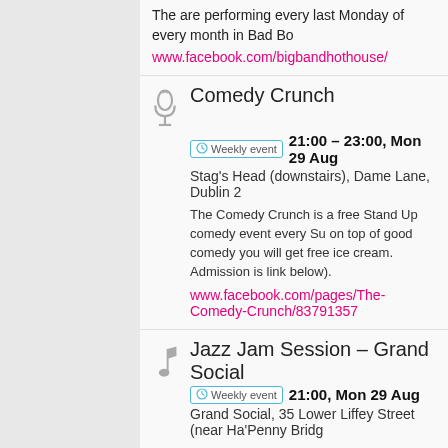The are performing every last Monday of every month in Bad Bo
www.facebook.com/bigbandhothouse/
Comedy Crunch
Weekly event  21:00 – 23:00, Mon 29 Aug
Stag's Head (downstairs), Dame Lane, Dublin 2
The Comedy Crunch is a free Stand Up comedy event every Su on top of good comedy you will get free ice cream. Admission is link below).
www.facebook.com/pages/The-Comedy-Crunch/83791357
Jazz Jam Session – Grand Social
Weekly event  21:00, Mon 29 Aug
Grand Social, 35 Lower Liffey Street (near Ha'Penny Bridg
Every Monday a Jazz Jam Session will take place in the Grand for musicians and audience.
Instruments are supplied (drums (no cymbals), double bass, gui to the session to the musicians who join the event on Facebook